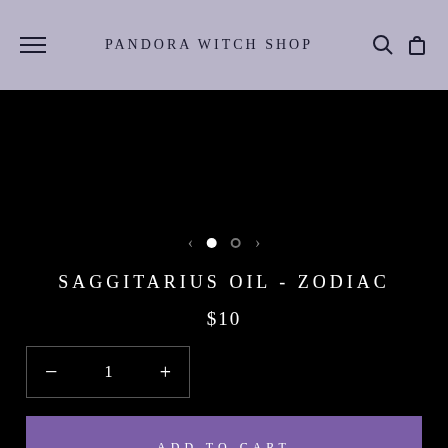PANDORA WITCH SHOP
[Figure (other): Product image carousel area with left/right navigation arrows and two pagination dots (first dot filled white, second dot outlined)]
SAGGITARIUS OIL - ZODIAC
$10
1
ADD TO CART
Oil can have a beneficial effect on the well-being and emotional state of a person, balance the mental state, strengthen theirs